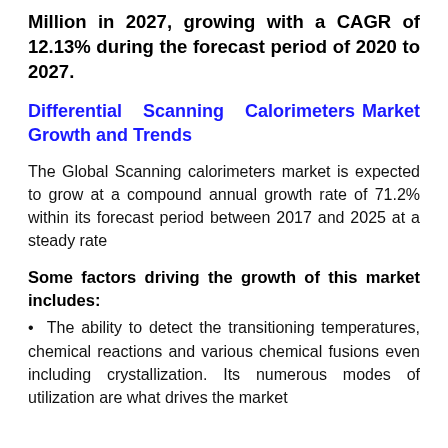Million in 2027, growing with a CAGR of 12.13% during the forecast period of 2020 to 2027.
Differential Scanning Calorimeters Market Growth and Trends
The Global Scanning calorimeters market is expected to grow at a compound annual growth rate of 71.2% within its forecast period between 2017 and 2025 at a steady rate
Some factors driving the growth of this market includes:
• The ability to detect the transitioning temperatures, chemical reactions and various chemical fusions even including crystallization. Its numerous modes of utilization are what drives the market